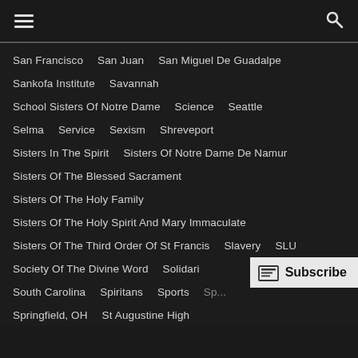☰  🔍
San Francisco   San Juan   San Miguel De Guadalpe
Sankofa Institute   Savannah
School Sisters Of Notre Dame   Science   Seattle
Selma   Service   Sexism   Shreveport
Sisters In The Spirit   Sisters Of Notre Dame De Namur
Sisters Of The Blessed Sacrament
Sisters Of The Holy Family
Sisters Of The Holy Spirit And Mary Immaculate
Sisters Of The Third Order Of St Francis   Slavery   SLU
Society Of The Divine Word   Solidari
South Carolina   Spiritans   Sports   Sp...
Springfield, OH   St Augustine High